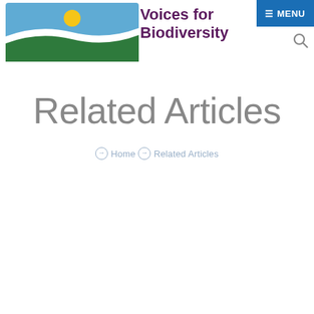[Figure (logo): Voices for Biodiversity logo: book shape with blue sky, white wave, green land, and yellow sun]
Voices for Biodiversity  ☰ MENU 🔍
Related Articles
⊕ Home ⊕ Related Articles